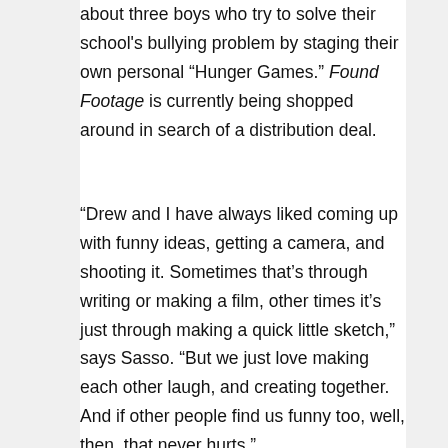about three boys who try to solve their school's bullying problem by staging their own personal “Hunger Games.” Found Footage is currently being shopped around in search of a distribution deal.
“Drew and I have always liked coming up with funny ideas, getting a camera, and shooting it. Sometimes that’s through writing or making a film, other times it’s just through making a quick little sketch,” says Sasso. “But we just love making each other laugh, and creating together. And if other people find us funny too, well, then, that never hurts.”